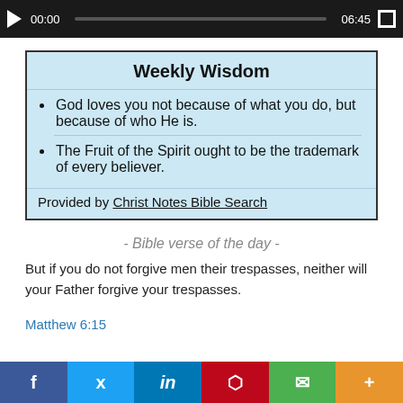[Figure (screenshot): Media player bar with play button, 00:00 timestamp, progress bar, 06:45 end time, and fullscreen button on dark background]
Weekly Wisdom
God loves you not because of what you do, but because of who He is.
The Fruit of the Spirit ought to be the trademark of every believer.
Provided by Christ Notes Bible Search
- Bible verse of the day -
But if you do not forgive men their trespasses, neither will your Father forgive your trespasses.
Matthew 6:15
[Figure (screenshot): Social share bar with Facebook, Twitter, LinkedIn, Pinterest, Email, and More buttons]